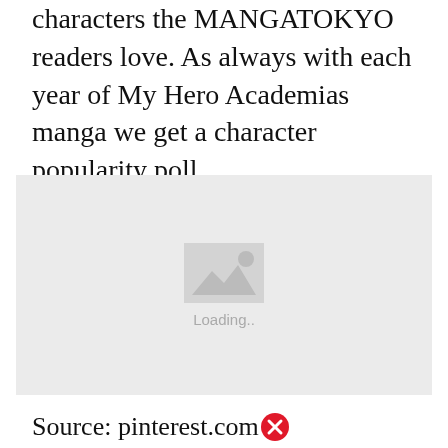characters the MANGATOKYO readers love. As always with each year of My Hero Academias manga we get a character popularity poll.
[Figure (photo): Image placeholder with loading indicator showing a grey box with a landscape/photo icon and 'Loading..' text beneath it]
Source: pinterest.com